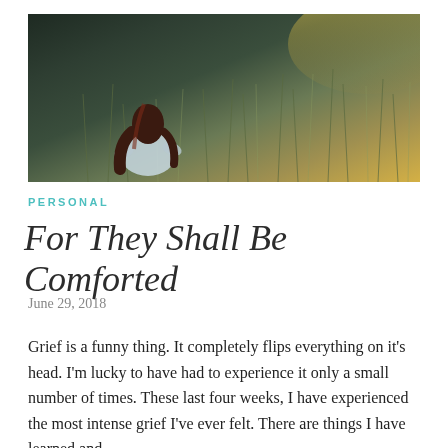[Figure (photo): A woman with long dark red hair, seen from behind, sitting in a field of tall grassy wildflowers. The scene has a dark, moody, backlit quality with warm golden light in the background.]
PERSONAL
For They Shall Be Comforted
June 29, 2018
Grief is a funny thing. It completely flips everything on it's head. I'm lucky to have had to experience it only a small number of times. These last four weeks, I have experienced the most intense grief I've ever felt. There are things I have learned and